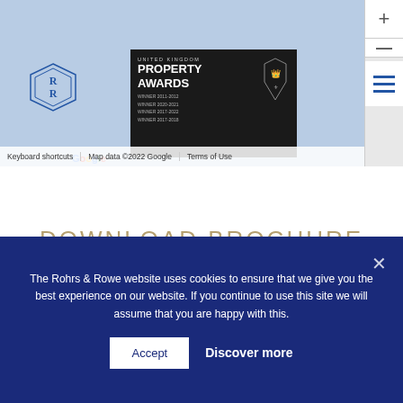[Figure (screenshot): Google Maps area showing a location in blue/light color with a United Kingdom Property Awards badge overlay and Google logo. Map controls (zoom in/out, menu) visible on right.]
DOWNLOAD BROCHURE
BROCHURE AND FLOORPLANS
The Rohrs & Rowe website uses cookies to ensure that we give you the best experience on our website. If you continue to use this site we will assume that you are happy with this.